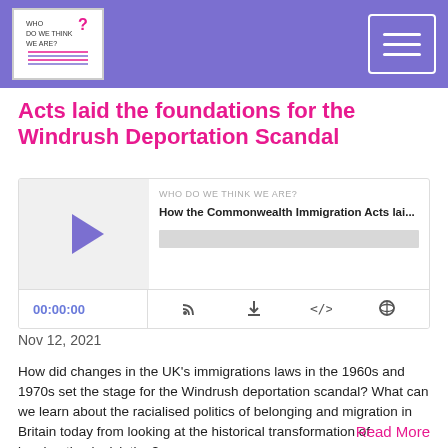WHO DO WE THINK WE ARE? [logo and menu]
Acts laid the foundations for the Windrush Deportation Scandal
[Figure (screenshot): Embedded podcast player showing 'WHO DO WE THINK WE ARE?' podcast episode 'How the Commonwealth Immigration Acts lai...' with play button, progress bar, timestamp 00:00:00, and control icons for RSS, download, embed, and settings.]
Nov 12, 2021
How did changes in the UK's immigrations laws in the 1960s and 1970s set the stage for the Windrush deportation scandal? What can we learn about the racialised politics of belonging and migration in Britain today from looking at the historical transformation of immigration legislation?
In this episode, we look at...
Read More